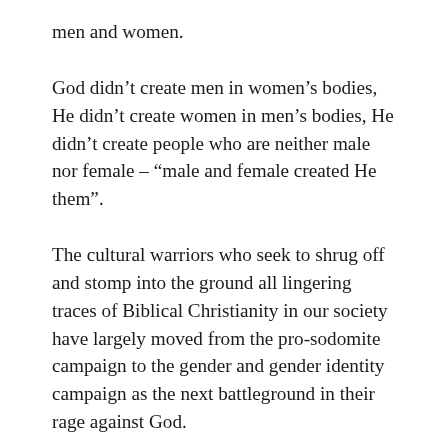men and women.
God didn’t create men in women’s bodies, He didn’t create women in men’s bodies, He didn’t create people who are neither male nor female – “male and female created He them”.
The cultural warriors who seek to shrug off and stomp into the ground all lingering traces of Biblical Christianity in our society have largely moved from the pro-sodomite campaign to the gender and gender identity campaign as the next battleground in their rage against God.
Even ungodly individuals who have sought to speak out against the utterly illogical claims of